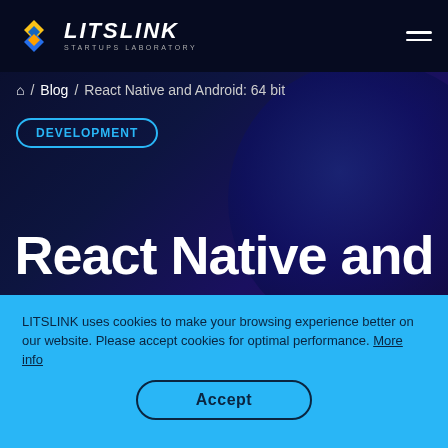LITSLINK STARTUPS LABORATORY
Home / Blog / React Native and Android: 64 bit
DEVELOPMENT
React Native and
LITSLINK uses cookies to make your browsing experience better on our website. Please accept cookies for optimal performance. More info
Accept